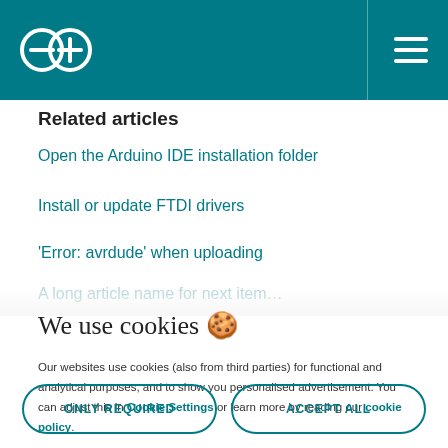Arduino header with logo and navigation menu
Related articles
Open the Arduino IDE installation folder
Install or update FTDI drivers
'Error: avrdude' when uploading
We use cookies 🍪
Our websites use cookies (also from third parties) for functional and analytical purposes, and to show you personalised advertisement. You can adjust this in Cookie Settings or learn more by reading our cookie policy.
ONLY REQUIRED
ACCEPT ALL